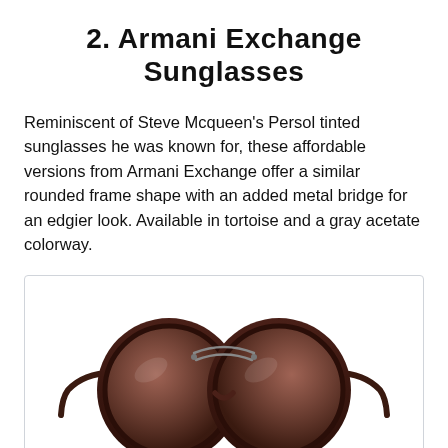2. Armani Exchange Sunglasses
Reminiscent of Steve Mcqueen’s Persol tinted sunglasses he was known for, these affordable versions from Armani Exchange offer a similar rounded frame shape with an added metal bridge for an edgier look. Available in tortoise and a gray acetate colorway.
[Figure (illustration): A pair of Armani Exchange sunglasses with rounded dark brown tortoise acetate frames, a thin metal double bridge, and brown gradient lenses, shown from the front.]